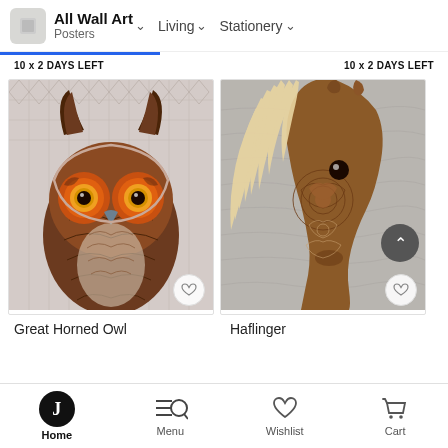All Wall Art  Posters  Living  Stationery
10 x 2 DAYS LEFT  10 x 2 DAYS LEFT
[Figure (illustration): Decorative mandala-style illustration of a Great Horned Owl with orange eyes and brown feathers on a geometric patterned background]
[Figure (illustration): Decorative mandala-style illustration of a Haflinger horse with blonde mane on a gray stone-textured background]
Great Horned Owl
Haflinger
Home  Menu  Wishlist  Cart